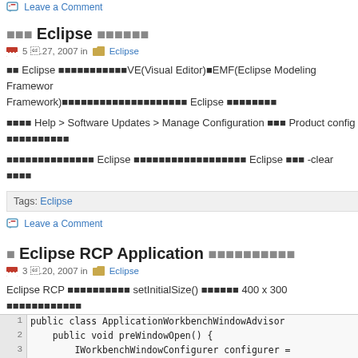Leave a Comment
□□□ Eclipse □□□□□□
5 □.27, 2007 in Eclipse
□□ Eclipse □□□□□□□□□□□□□□□VE(Visual Editor)□EMF(Eclipse Modeling Framework)□□□□□□□□□□□□□□□□□□□□□□□□□□□□□□□□□□□□□□□□□□□□□□□□□□□□□□□□□ Eclipse □□□□□□□□□□□□□□□□
□□□□ Help > Software Updates > Manage Configuration □□□□ Product config□□□□□□□□□□□□
□□□□□□□□□□□□□□□□□□□□□□□□ Eclipse □□□□□□□□□□□□□□□□□□□□□□□□□□□□□□□□□□□□□□□ Eclipse □□□□ -clear□□□□
Tags: Eclipse
Leave a Comment
□ Eclipse RCP Application □□□□□□□□□□□□
3 □.20, 2007 in Eclipse
Eclipse RCP □□□□□□□□□□□□□□□□□□□□□ setInitialSize() □□□□□□□□ 400 x 300 □□□□□□□□□□□□□□□□□□□□□□□□
[Figure (screenshot): Java code block showing lines 1-4 of ApplicationWorkbenchWindowAdvisor class with preWindowOpen method and IWorkbenchWindowConfigurer setup]